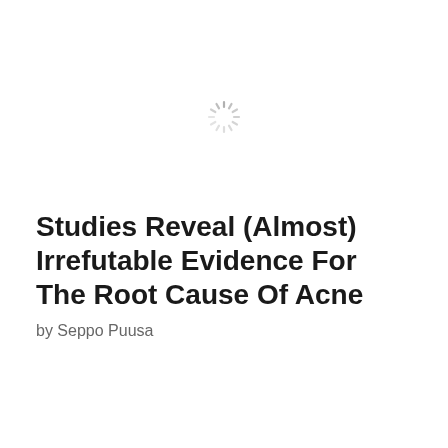[Figure (other): A loading spinner icon (circular dashed ring) centered near the top of the page]
Studies Reveal (Almost) Irrefutable Evidence For The Root Cause Of Acne
by Seppo Puusa